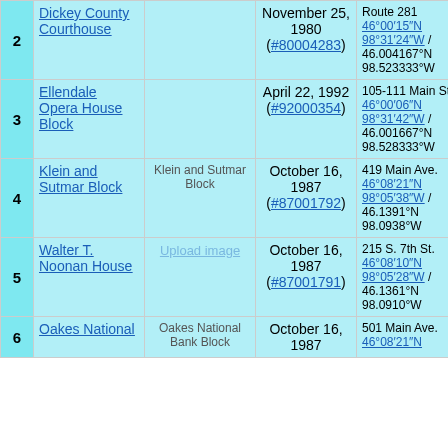| # | Name | Image | Date Listed | Location | City |
| --- | --- | --- | --- | --- | --- |
| 2 | Dickey County Courthouse | [image] | November 25, 1980 (#80004283) | Route 281 46°00′15″N 98°31′24″W / 46.004167°N 98.523333°W | Elle |
| 3 | Ellendale Opera House Block | [image] | April 22, 1992 (#92000354) | 105-111 Main St. 46°00′06″N 98°31′42″W / 46.001667°N 98.528333°W | Elle |
| 4 | Klein and Sutmar Block | [Klein and Sutmar Block image] | October 16, 1987 (#87001792) | 419 Main Ave. 46°08′21″N 98°05′38″W / 46.1391°N 98.0938°W | Oak |
| 5 | Walter T. Noonan House | Upload image | October 16, 1987 (#87001791) | 215 S. 7th St. 46°08′10″N 98°05′28″W / 46.1361°N 98.0910°W | Oak |
| 6 | Oakes National Block | [Oakes National Bank Block image] | October 16, 1987 | 501 Main Ave. 46°08′21″N | Oak |